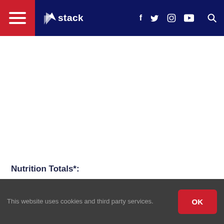Stack — navigation bar with hamburger menu, Stack logo, social icons (f, Twitter, Instagram, YouTube), and search icon
Nutrition Totals*:
PRE-WORKOUT
Calories 305
This website uses cookies and third party services.